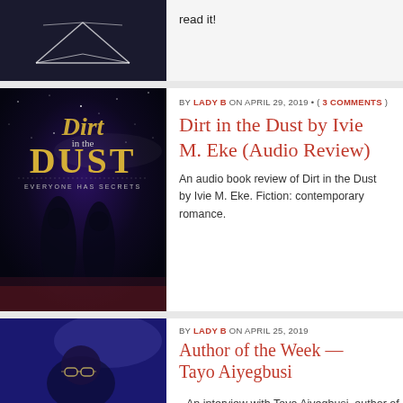[Figure (photo): Book cover or decorative image at top left with open book silhouette on dark background]
read it!
[Figure (photo): Book cover of 'Dirt in the Dust' by Ivie M. Eke — dark starry sky with two silhouetted figures, gold text]
BY LADY B ON APRIL 29, 2019 • ( 3 COMMENTS )
Dirt in the Dust by Ivie M. Eke (Audio Review)
An audio book review of Dirt in the Dust by Ivie M. Eke. Fiction: contemporary romance.
[Figure (photo): Portrait photo of Tayo Aiyegbusi — person with glasses against dark blue background]
BY LADY B ON APRIL 25, 2019
Author of the Week — Tayo Aiyegbusi
An interview with Tayo Aiyegbusi, author of Thoughts in the Dark: An Uncharted Expedition into Verse. A poetry collection which explores several themes including